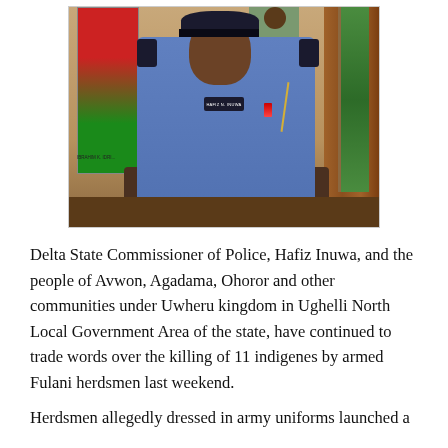[Figure (photo): A Nigerian police officer in blue uniform with black epaulettes and cap, medals on chest, sitting at a desk. A Nigerian flag is visible to the right. A red and green poster is on the left background. Wooden paneling in background.]
Delta State Commissioner of Police, Hafiz Inuwa, and the people of Avwon, Agadama, Ohoror and other communities under Uwheru kingdom in Ughelli North Local Government Area of the state, have continued to trade words over the killing of 11 indigenes by armed Fulani herdsmen last weekend.
Herdsmen allegedly dressed in army uniforms launched a